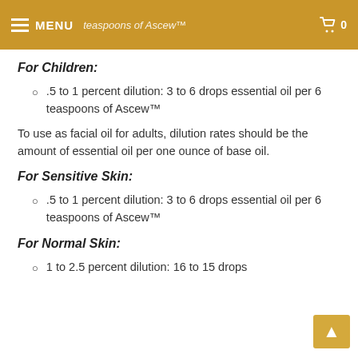MENU | teaspoons of Ascew™ | 0
For Children:
.5 to 1 percent dilution: 3 to 6 drops essential oil per 6 teaspoons of Ascew™
To use as facial oil for adults, dilution rates should be the amount of essential oil per one ounce of base oil.
For Sensitive Skin:
.5 to 1 percent dilution: 3 to 6 drops essential oil per 6 teaspoons of Ascew™
For Normal Skin:
1 to 2.5 percent dilution: 16 to 15 drops